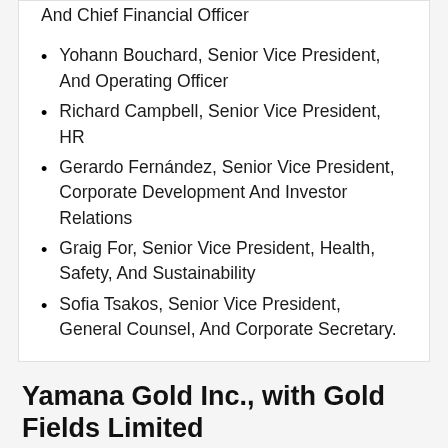And Chief Financial Officer
Yohann Bouchard, Senior Vice President, And Operating Officer
Richard Campbell, Senior Vice President, HR
Gerardo Fernández, Senior Vice President, Corporate Development And Investor Relations
Graig For, Senior Vice President, Health, Safety, And Sustainability
Sofia Tsakos, Senior Vice President, General Counsel, And Corporate Secretary.
Yamana Gold Inc., with Gold Fields Limited
Yamana Gold Inc. has reached an agreement with Gold Fields Limited, under which Yamana shares will